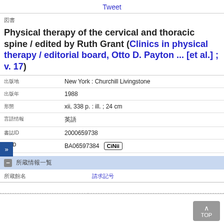Tweet
図書
Physical therapy of the cervical and thoracic spine / edited by Ruth Grant (Clinics in physical therapy / editorial board, Otto D. Payton ... [et al.] ; v. 17)
|  |  |
| --- | --- |
| 出版地 | New York : Churchill Livingstone |
| 出版年 | 1988 |
| 形態 | xii, 338 p. : ill. ; 24 cm |
| 言語情報 | 英語 |
| 書誌ID | 2000659738 |
| NCID | BA06597384 [CiNii] |
所蔵情報一覧
| 所蔵館名 | 請求記号 |
| --- | --- |
| 　　 |  |
»